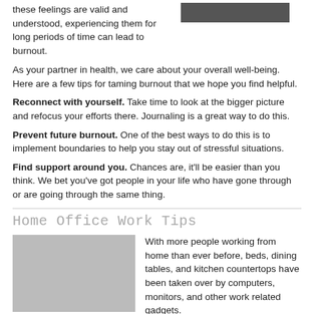these feelings are valid and understood, experiencing them for long periods of time can lead to burnout.
As your partner in health, we care about your overall well-being. Here are a few tips for taming burnout that we hope you find helpful.
Reconnect with yourself. Take time to look at the bigger picture and refocus your efforts there. Journaling is a great way to do this.
Prevent future burnout. One of the best ways to do this is to implement boundaries to help you stay out of stressful situations.
Find support around you. Chances are, it'll be easier than you think. We bet you've got people in your life who have gone through or are going through the same thing.
Home Office Work Tips
With more people working from home than ever before, beds, dining tables, and kitchen countertops have been taken over by computers, monitors, and other work related gadgets.